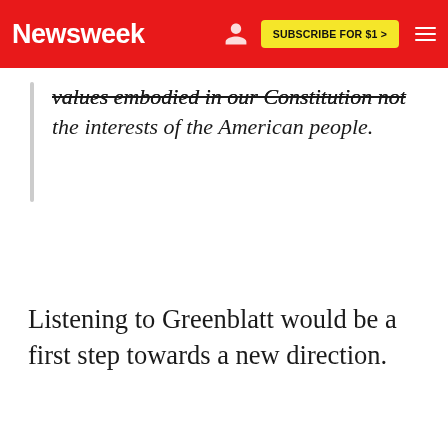Newsweek | SUBSCRIBE FOR $1 >
values embodied in our Constitution not the interests of the American people.
Listening to Greenblatt would be a first step towards a new direction.